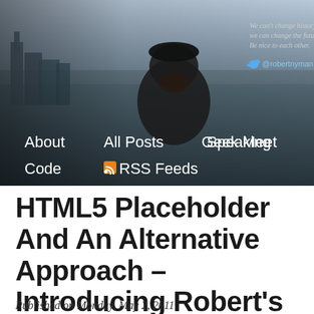[Figure (photo): Website header image showing a man in a dark beanie hat against a cityscape panorama background with navigation menu links: About, All Posts, Speaking, Geek Meet, Code, RSS Feeds. Quote text in top right: 'We can't change history, but we can change the future. Be nice to each other.' Twitter handle @robertnyman shown below quote.]
HTML5 Placeholder And An Alternative Approach – Introducing Robert's Playground
Published on Monday, May 2, 2011